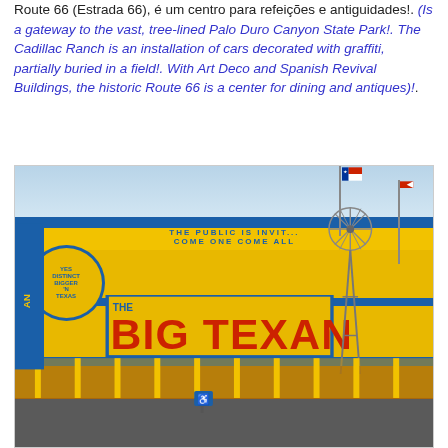Route 66 (Estrada 66), é um centro para refeições e antiguidades!. (Is a gateway to the vast, tree-lined Palo Duro Canyon State Park!. The Cadillac Ranch is an installation of cars decorated with graffiti, partially buried in a field!. With Art Deco and Spanish Revival Buildings, the historic Route 66 is a center for dining and antiques)!.
[Figure (photo): Exterior photo of The Big Texan Steak Ranch, a bright yellow building with blue trim and large red-and-blue signage reading 'THE BIG TEXAN'. A tall windmill structure stands to the right of the building. Texas flags are visible on flagpoles. A circular sign reads 'BIGGER N TEXAS'. The building has a covered porch with yellow columns. People and a parking area are visible in the foreground.]